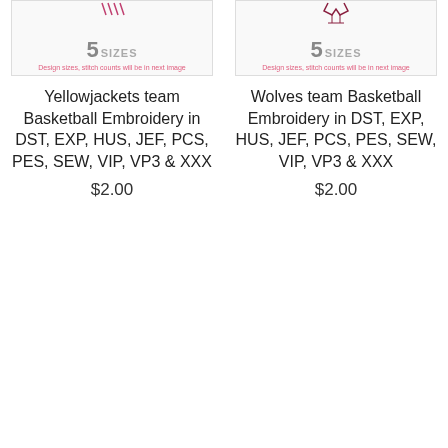[Figure (illustration): Yellowjackets basketball embroidery design shown with '5 SIZES' label and caption 'Design sizes, stitch counts will be in next image']
Yellowjackets team Basketball Embroidery in DST, EXP, HUS, JEF, PCS, PES, SEW, VIP, VP3 & XXX
$2.00
[Figure (illustration): Wolves basketball embroidery design shown with '5 SIZES' label and caption 'Design sizes, stitch counts will be in next image']
Wolves team Basketball Embroidery in DST, EXP, HUS, JEF, PCS, PES, SEW, VIP, VP3 & XXX
$2.00